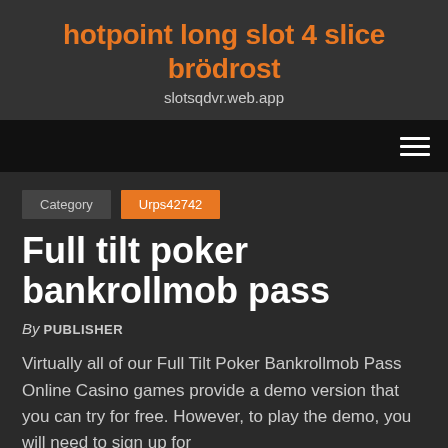hotpoint long slot 4 slice brödrost
slotsqdvr.web.app
[Figure (other): Navigation bar with hamburger menu icon (three horizontal lines) on dark black background]
Category  Urps42742
Full tilt poker bankrollmob pass
By PUBLISHER
Virtually all of our Full Tilt Poker Bankrollmob Pass Online Casino games provide a demo version that you can try for free. However, to play the demo, you will need to sign up for